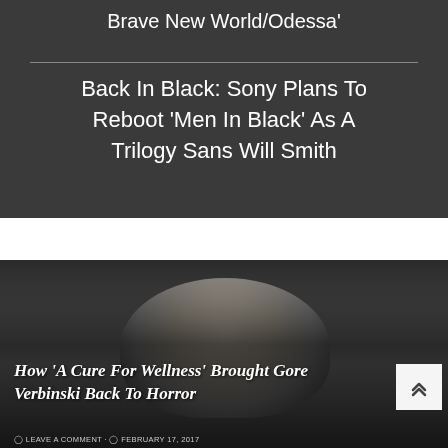Brave New World/Odessa'
Back In Black: Sony Plans To Reboot 'Men In Black' As A Trilogy Sans Will Smith
[Figure (photo): Close-up photo of a man with gray hair against a dark background with text 'ELEVA' partially visible]
How 'A Cure For Wellness' Brought Gore Verbinski Back To Horror
LEAVE A COMMENT · FEBRUARY 17, 2017